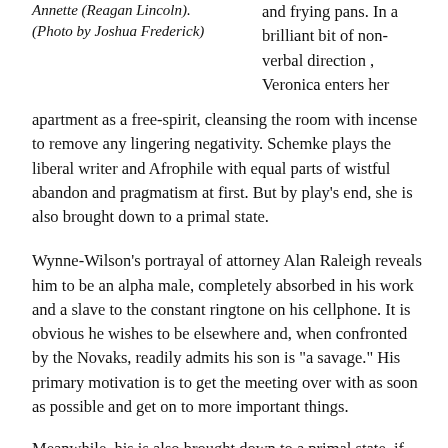Annette (Reagan Lincoln). (Photo by Joshua Frederick)
and frying pans. In a brilliant bit of non-verbal direction , Veronica enters her apartment as a free-spirit, cleansing the room with incense to remove any lingering negativity. Schemke plays the liberal writer and Afrophile with equal parts of wistful abandon and pragmatism at first. But by play's end, she is also brought down to a primal state.
Wynne-Wilson's portrayal of attorney Alan Raleigh reveals him to be an alpha male, completely absorbed in his work and a slave to the constant ringtone on his cellphone. It is obvious he wishes to be elsewhere and, when confronted by the Novaks, readily admits his son is “a savage.” His primary motivation is to get the meeting over with as soon as possible and get on to more important things.
Meanwhile, his is also brought down to a primal state, if